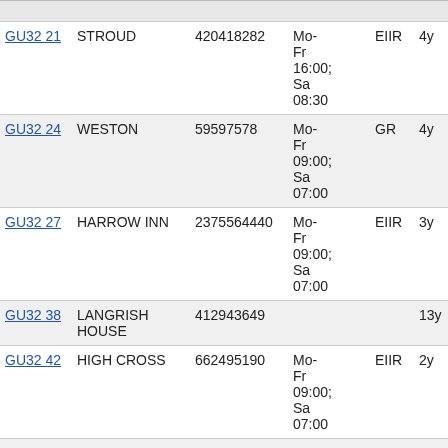|  |  |  |  |  |  |
| --- | --- | --- | --- | --- | --- |
| GU32 21 | STROUD | 420418282 | Mo-Fr 16:00; Sa 08:30 | EIIR | 4y |
| GU32 24 | WESTON | 59597578 | Mo-Fr 09:00; Sa 07:00 | GR | 4y |
| GU32 27 | HARROW INN | 2375564440 | Mo-Fr 09:00; Sa 07:00 | EIIR | 3y |
| GU32 38 | LANGRISH HOUSE | 412943649 |  |  | 13y |
| GU32 42 | HIGH CROSS | 662495190 | Mo-Fr 09:00; Sa 07:00 | EIIR | 2y |
| GU32 47 | LAVANT | 5744493524 | Mo- | GR | 12m |